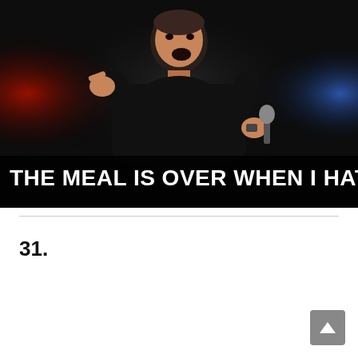[Figure (photo): A comedian on stage holding a microphone, speaking expressively with hands gesturing, wearing a black shirt. Stage lighting with red glow on left and blue glow on right. Dark background. White bold text at bottom reads: THE MEAL IS OVER WHEN I HATE MYSELF]
31.